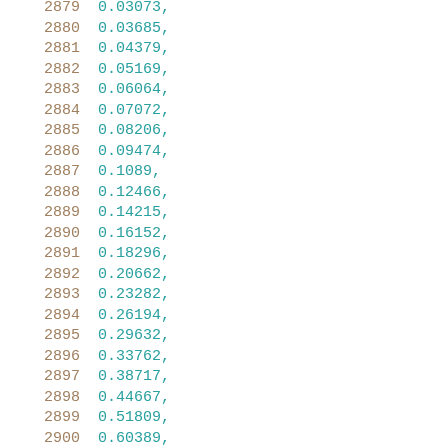| index | value |
| --- | --- |
| 2879 | 0.03073, |
| 2880 | 0.03685, |
| 2881 | 0.04379, |
| 2882 | 0.05169, |
| 2883 | 0.06064, |
| 2884 | 0.07072, |
| 2885 | 0.08206, |
| 2886 | 0.09474, |
| 2887 | 0.1089, |
| 2888 | 0.12466, |
| 2889 | 0.14215, |
| 2890 | 0.16152, |
| 2891 | 0.18296, |
| 2892 | 0.20662, |
| 2893 | 0.23282, |
| 2894 | 0.26194, |
| 2895 | 0.29632, |
| 2896 | 0.33762, |
| 2897 | 0.38717, |
| 2898 | 0.44667, |
| 2899 | 0.51809, |
| 2900 | 0.60389, |